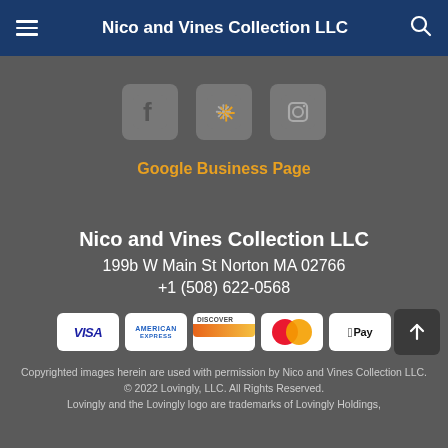Nico and Vines Collection LLC
[Figure (illustration): Social media icons: Facebook, Yelp, Instagram in rounded square grey boxes]
Google Business Page
Nico and Vines Collection LLC
199b W Main St Norton MA 02766
+1 (508) 622-0568
[Figure (illustration): Payment method badges: Visa, American Express, Discover, Mastercard, Apple Pay]
Copyrighted images herein are used with permission by Nico and Vines Collection LLC.
© 2022 Lovingly, LLC. All Rights Reserved.
Lovingly and the Lovingly logo are trademarks of Lovingly Holdings,